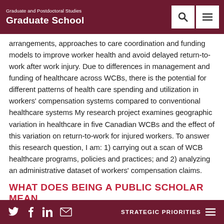Graduate and Postdoctoral Studies / Graduate School
arrangements, approaches to care coordination and funding models to improve worker health and avoid delayed return-to-work after work injury. Due to differences in management and funding of healthcare across WCBs, there is the potential for different patterns of health care spending and utilization in workers' compensation systems compared to conventional healthcare systems My research project examines geographic variation in healthcare in five Canadian WCBs and the effect of this variation on return-to-work for injured workers. To answer this research question, I am: 1) carrying out a scan of WCB healthcare programs, policies and practices; and 2) analyzing an administrative dataset of workers' compensation claims.
WHAT DOES BEING A PUBLIC SCHOLAR MEAN
STRATEGIC PRIORITIES